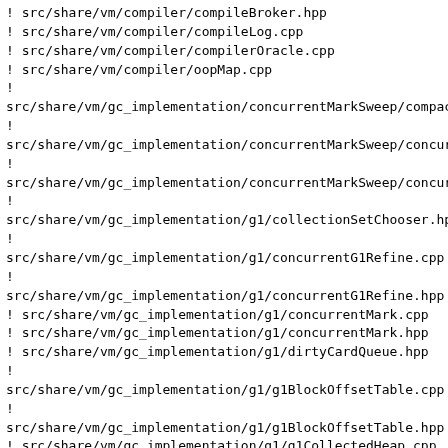! src/share/vm/compiler/compileBroker.hpp
! src/share/vm/compiler/compileLog.cpp
! src/share/vm/compiler/compilerOracle.cpp
! src/share/vm/compiler/oopMap.cpp
!
src/share/vm/gc_implementation/concurrentMarkSweep/compac
!
src/share/vm/gc_implementation/concurrentMarkSweep/concur
!
src/share/vm/gc_implementation/concurrentMarkSweep/concur
!
src/share/vm/gc_implementation/g1/collectionSetChooser.hp
!
src/share/vm/gc_implementation/g1/concurrentG1Refine.cpp
!
src/share/vm/gc_implementation/g1/concurrentG1Refine.hpp
! src/share/vm/gc_implementation/g1/concurrentMark.cpp
! src/share/vm/gc_implementation/g1/concurrentMark.hpp
! src/share/vm/gc_implementation/g1/dirtyCardQueue.hpp
!
src/share/vm/gc_implementation/g1/g1BlockOffsetTable.cpp
!
src/share/vm/gc_implementation/g1/g1BlockOffsetTable.hpp
! src/share/vm/gc_implementation/g1/g1CollectedHeap.cpp
! src/share/vm/gc_implementation/g1/g1CollectedHeap.hpp
!
src/share/vm/gc_implementation/g1/g1CollectorPolicy.hpp
! src/share/vm/gc_implementation/g1/g1MMUTracker.hpp
!
src/share/vm/gc_implementation/g1/g1MonitoringSupport.hpp
! src/share/vm/gc_implementation/g1/g1RemSet.cpp